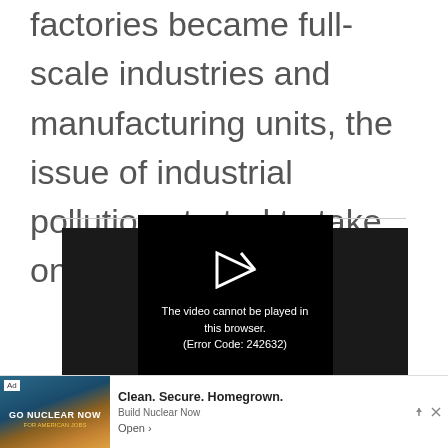factories became full-scale industries and manufacturing units, the issue of industrial pollution started to take on more importance.
[Figure (screenshot): Video player showing error message: 'The video cannot be played in this browser. (Error Code: 242632)' on a dark background with a play icon arrow.]
[Figure (infographic): Advertisement banner: 'GO NUCLEAR NOW - Clean. Secure. Homegrown. Build Nuclear Now - Open' with a nuclear-themed image.]